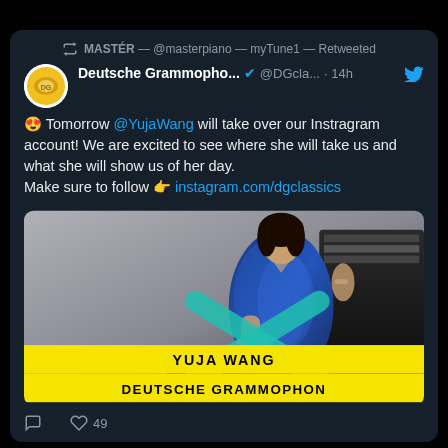MASTÉR — @masterpiano — myTune1 — Retweeted
Deutsche Grammopho... @DGcla... · 14h
😍 Tomorrow @YujaWang will take over our Instragram account! We are excited to see where she will take us and what she will show us of her day.
Make sure to follow 👉 instagram.com/dgclassics
[Figure (photo): Yuja Wang seated near a piano wearing a blue sequined dress, with a teal X ribbon overlay. Yellow bars at bottom read YUJA WANG and DEUTSCHE GRAMMOPHON.]
49 likes